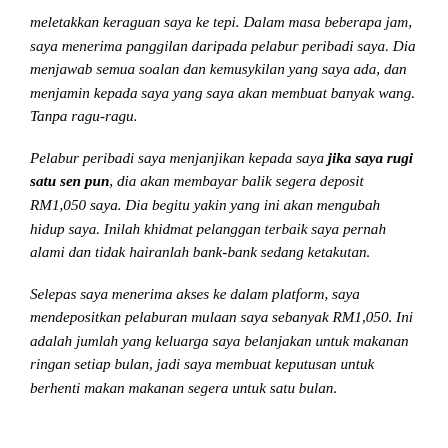meletakkan keraguan saya ke tepi. Dalam masa beberapa jam, saya menerima panggilan daripada pelabur peribadi saya. Dia menjawab semua soalan dan kemusykilan yang saya ada, dan menjamin kepada saya yang saya akan membuat banyak wang. Tanpa ragu-ragu.
Pelabur peribadi saya menjanjikan kepada saya jika saya rugi satu sen pun, dia akan membayar balik segera deposit RM1,050 saya. Dia begitu yakin yang ini akan mengubah hidup saya. Inilah khidmat pelanggan terbaik saya pernah alami dan tidak hairanlah bank-bank sedang ketakutan.
Selepas saya menerima akses ke dalam platform, saya mendepositkan pelaburan mulaan saya sebanyak RM1,050. Ini adalah jumlah yang keluarga saya belanjakan untuk makanan ringan setiap bulan, jadi saya membuat keputusan untuk berhenti makan makanan segera untuk satu bulan.